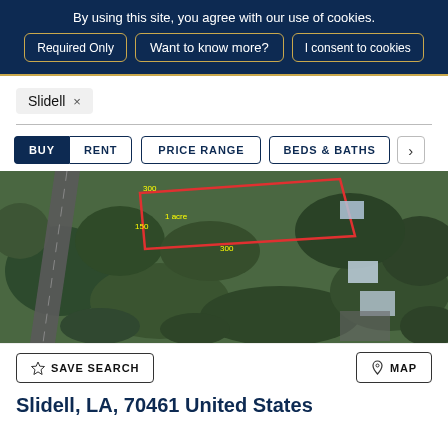By using this site, you agree with our use of cookies. | Required Only | Want to know more? | I consent to cookies
Slidell ×
BUY  RENT  PRICE RANGE  BEDS & BATHS  >
[Figure (photo): Aerial satellite view of a 1-acre land parcel in Slidell, LA, outlined in red with yellow dimension markers showing 300, 150, and 300 ft measurements]
☆ SAVE SEARCH    ⊙ MAP
Slidell, LA, 70461 United States